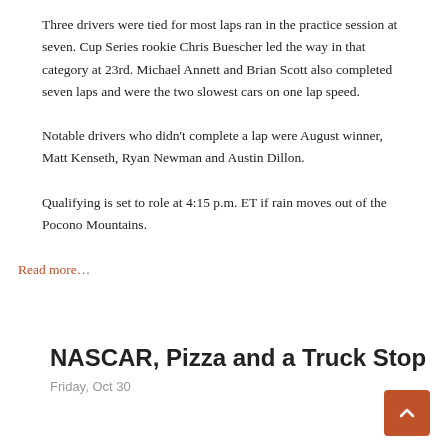Three drivers were tied for most laps ran in the practice session at seven. Cup Series rookie Chris Buescher led the way in that category at 23rd. Michael Annett and Brian Scott also completed seven laps and were the two slowest cars on one lap speed.
Notable drivers who didn't complete a lap were August winner, Matt Kenseth, Ryan Newman and Austin Dillon.
Qualifying is set to role at 4:15 p.m. ET if rain moves out of the Pocono Mountains.
Read more...
NASCAR, Pizza and a Truck Stop
Friday, Oct 30